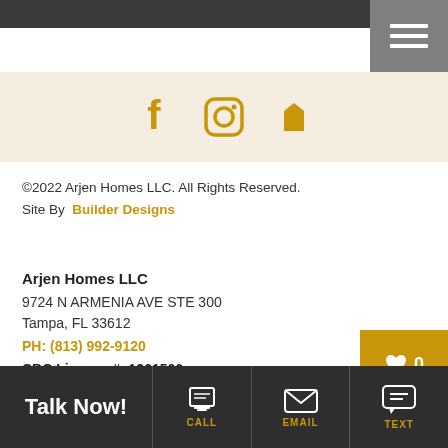[Figure (screenshot): Top navigation bar with dark background and hamburger menu icon on the right]
[Figure (infographic): Social media icons strip with beige background showing Facebook, Instagram, and Houzz icons in gold]
©2022 Arjen Homes LLC. All Rights Reserved.
Site By  Builder Designs
Arjen Homes LLC
9724 N ARMENIA AVE STE 300
Tampa, FL 33612
PH: (813) 992-9120
CBC License #: 1261506
[Figure (infographic): Gold favorite/heart button with count 0]
[Figure (infographic): Dark bottom CTA bar with Talk Now! text, CALL, EMAIL, and TEXT icon buttons]